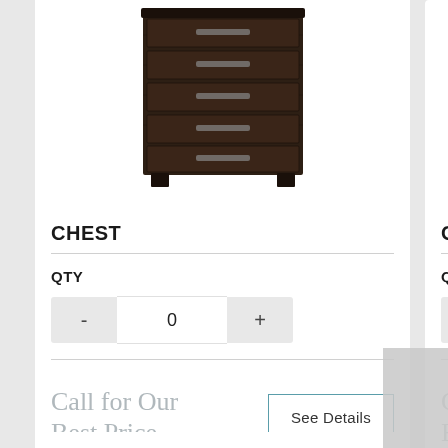[Figure (photo): Dark espresso wood chest of drawers with 5 drawers and metal bar handles, photographed on white background]
CHEST
QTY
0
Call for Our Best Price
See Details
CHEST
QTY
Call f Best